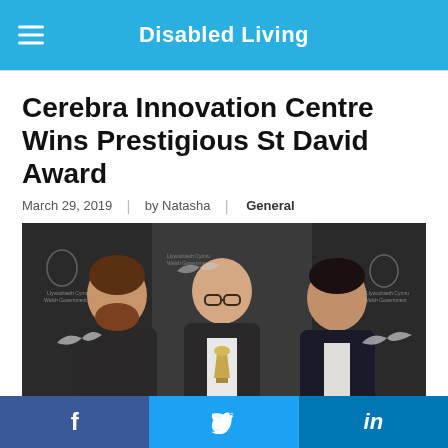Disabled Living
Cerebra Innovation Centre Wins Prestigious St David Award
March 29, 2019  |  by Natasha  |  General
[Figure (photo): Three men in formal attire standing in front of St David Award banners. The man in the centre holds a trophy/award. The backdrop features Welsh Government logos and bird imagery.]
This post has been written by Cerebra on behalf of Disabled Living. The Cerebra Innovation Centre (CIC) supports children...
f  |  Twitter bird  |  in